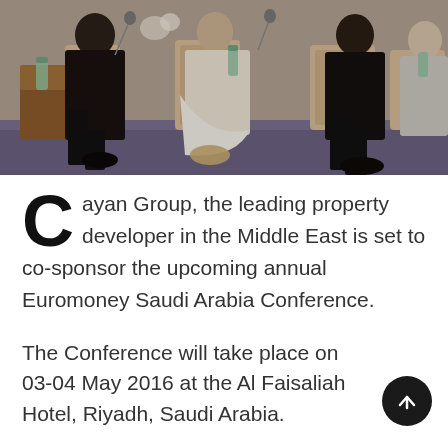[Figure (photo): Panel discussion photo showing several people seated in chairs on a stage, appearing to be at a conference. People are dressed in formal and traditional attire. Water bottles and microphones visible.]
Cayan Group, the leading property developer in the Middle East is set to co-sponsor the upcoming annual Euromoney Saudi Arabia Conference.
The Conference will take place on 03-04 May 2016 at the Al Faisaliah Hotel, Riyadh, Saudi Arabia.